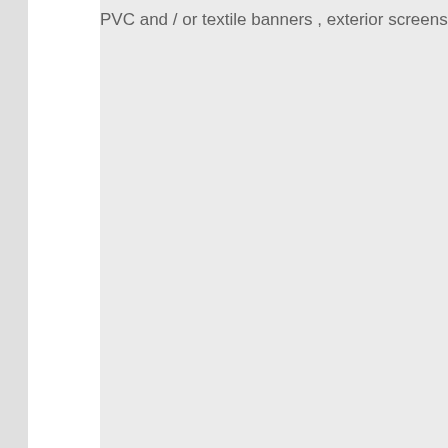PVC and / or textile banners , exterior screens , drapery , awni